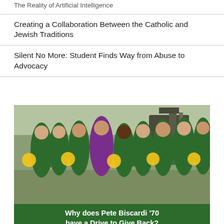The Reality of Artificial Intelligence
Creating a Collaboration Between the Catholic and Jewish Traditions
Silent No More: Student Finds Way from Abuse to Advocacy
[Figure (photo): A man in a purple blazer stands surrounded by cheerleaders in green and gold uniforms holding pom-poms, with construction equipment visible in the background. Below the photo is a dark green banner.]
Why does Pete Biscardi '70 have a Drive to Give Back?